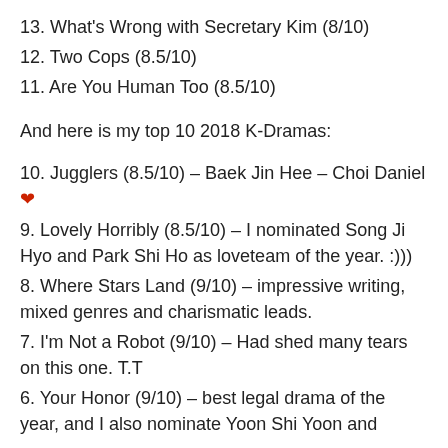13. What's Wrong with Secretary Kim (8/10)
12. Two Cops (8.5/10)
11. Are You Human Too (8.5/10)
And here is my top 10 2018 K-Dramas:
10. Jugglers (8.5/10) – Baek Jin Hee – Choi Daniel ❤
9. Lovely Horribly (8.5/10) – I nominated Song Ji Hyo and Park Shi Ho as loveteam of the year. :)))
8. Where Stars Land (9/10) – impressive writing, mixed genres and charismatic leads.
7. I'm Not a Robot (9/10) – Had shed many tears on this one. T.T
6. Your Honor (9/10) – best legal drama of the year, and I also nominate Yoon Shi Yoon and